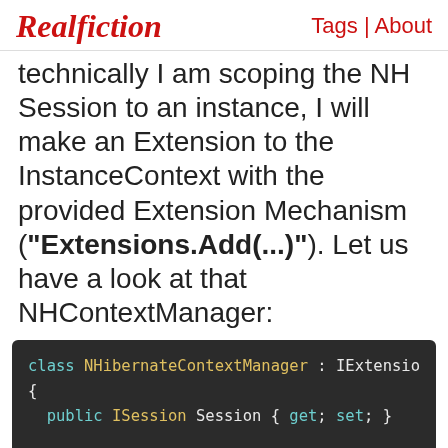Realfiction | Tags | About
technically I am scoping the NH Session to an instance, I will make an Extension to the InstanceContext with the provided Extension Mechanism ("Extensions.Add(...)"). Let us have a look at that NHContextManager:
[Figure (screenshot): Code block showing C# class NHibernateContextManager implementing IExtension interface, with public ISession Session { get; set; } property and public void Attach(InstanceContext owner) method beginning]